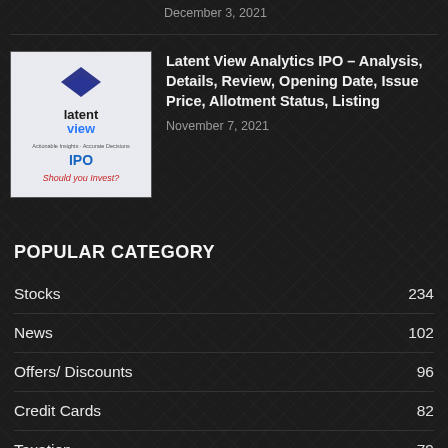December 3, 2021
[Figure (logo): Latent View Analytics IPO thumbnail with logo and 'Should you Invest?' text]
Latent View Analytics IPO – Analysis, Details, Review, Opening Date, Issue Price, Allotment Status, Listing
November 7, 2021
POPULAR CATEGORY
Stocks 234
News 102
Offers/ Discounts 96
Credit Cards 82
Taxation 79
Bonds 58
How to Series 45